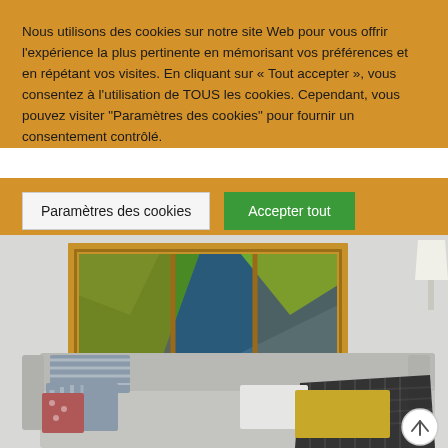Nous utilisons des cookies sur notre site Web pour vous offrir l'expérience la plus pertinente en mémorisant vos préférences et en répétant vos visites. En cliquant sur « Tout accepter », vous consentez à l'utilisation de TOUS les cookies. Cependant, vous pouvez visiter "Paramètres des cookies" pour fournir un consentement contrôlé.
[Figure (screenshot): Cookie consent banner with two buttons: 'Paramètres des cookies' (light button) and 'Accepter tout' (green button), overlaid on a webpage showing a living room with sofa, decorative pillows, and a framed nature/forest photo on the wall]